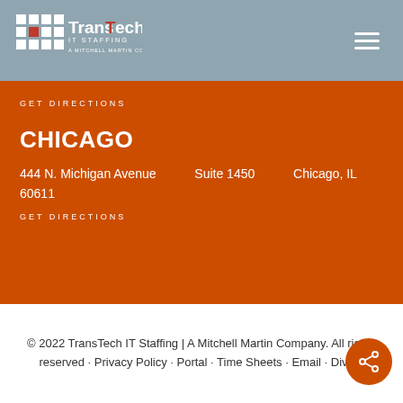[Figure (logo): TransTech IT Staffing logo with grid icon and text 'A Mitchell Martin Company']
GET DIRECTIONS
CHICAGO
444 N. Michigan Avenue   Suite 1450   Chicago, IL 60611
GET DIRECTIONS
© 2022 TransTech IT Staffing | A Mitchell Martin Company. All rights reserved · Privacy Policy · Portal · Time Sheets · Email · Divers...